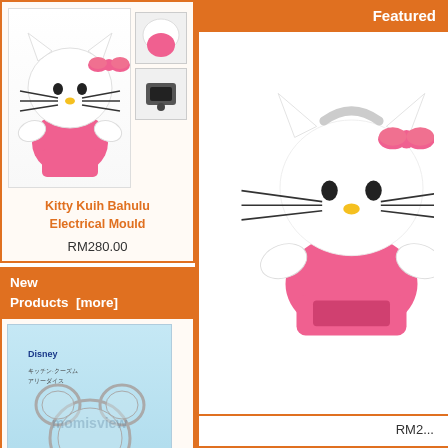[Figure (photo): Hello Kitty shaped Kuih Bahulu Electrical Mould product photo with two thumbnails showing the mould interior]
Kitty Kuih Bahulu Electrical Mould
RM280.00
New Products  [more]
[Figure (photo): Mickey Side Head Shaped Pancake/egg/burger Mould + Stencil in packaging, Disney branded, light blue background]
Mickey Side Head Shaped Pancake/egg/burger Mould + Stencil
RM45.00
Featured
[Figure (photo): Hello Kitty shaped product (similar electrical mould) shown on right side, partially cropped]
RM2...